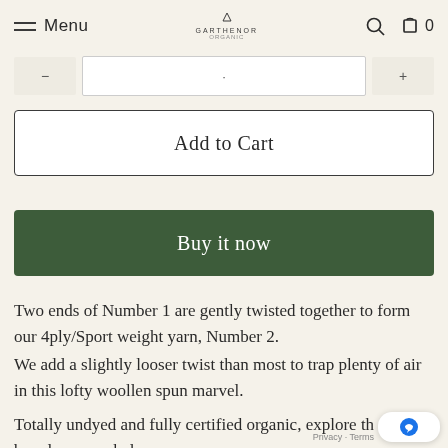Menu  GARTHENOR  0
Add to Cart
Buy it now
Two ends of Number 1 are gently twisted together to form our 4ply/Sport weight yarn, Number 2.
We add a slightly looser twist than most to trap plenty of air in this lofty woollen spun marvel.
Totally undyed and fully certified organic, explore the breeds we use below.